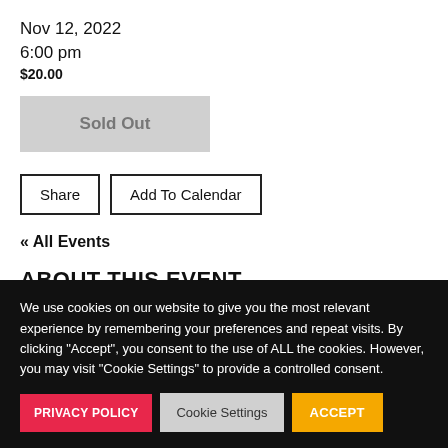Nov 12, 2022
6:00 pm
$20.00
Sold Out
Share
Add To Calendar
« All Events
ABOUT THIS EVENT
We use cookies on our website to give you the most relevant experience by remembering your preferences and repeat visits. By clicking "Accept", you consent to the use of ALL the cookies. However, you may visit "Cookie Settings" to provide a controlled consent.
PRIVACY POLICY
Cookie Settings
ACCEPT